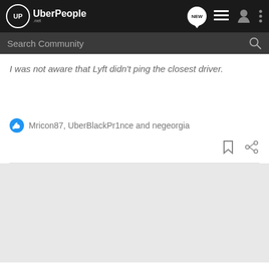[Figure (screenshot): UberPeople.net website navigation bar with logo, NEW message icon, list icon, user icon, and more options icon]
[Figure (screenshot): Search Community search bar with magnifying glass icon on dark background]
I was not aware that Lyft didn't ping the closest driver.
Mricon87, UberBlackPr1nce and negeorgia
[Figure (screenshot): Bookmark and share action icons]